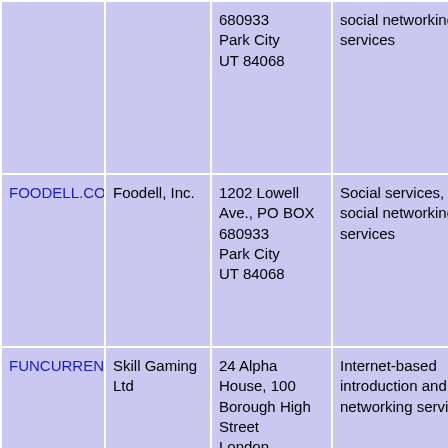| Trademark | Owner | Address | Services |
| --- | --- | --- | --- |
|  |  | 680933
Park City
UT 84068 | social networking services |
| FOODELL.COM | Foodell, Inc. | 1202 Lowell Ave., PO BOX 680933
Park City
UT 84068 | Social services, on-line social networking services |
| FUNCURRENT | Skill Gaming Ltd | 24 Alpha House, 100 Borough High Street
London
SE11LB
GB | Internet-based introduction and social networking services; |
| G N | Giganews, Inc. | 1044 Liberty Dr.
Austin TX 78746 | Internet-based introduction and social |